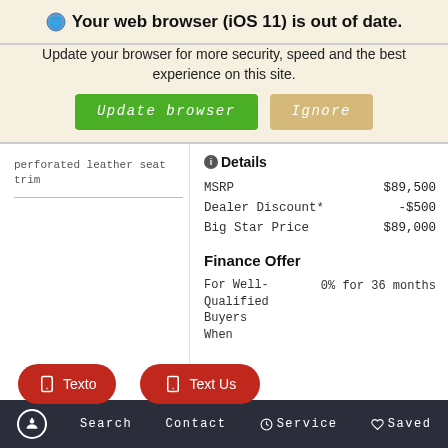Your web browser (iOS 11) is out of date.
Update your browser for more security, speed and the best experience on this site.
Update browser | Ignore
perforated leather seat trim
Details
|  |  |
| --- | --- |
| MSRP | $89,500 |
| Dealer Discount* | -$500 |
| Big Star Price | $89,000 |
Finance Offer
For Well-Qualified Buyers When
0% for 36 months
Texto
Text Us
Financial
Search   Contact   Service   Saved